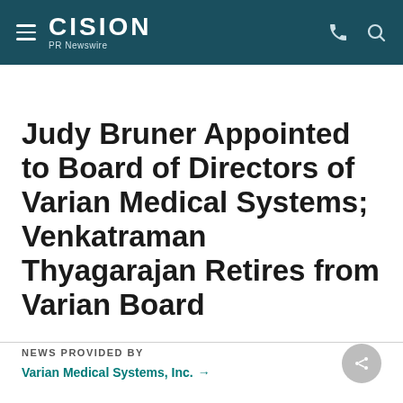CISION PR Newswire
Judy Bruner Appointed to Board of Directors of Varian Medical Systems; Venkatraman Thyagarajan Retires from Varian Board
NEWS PROVIDED BY
Varian Medical Systems, Inc. →